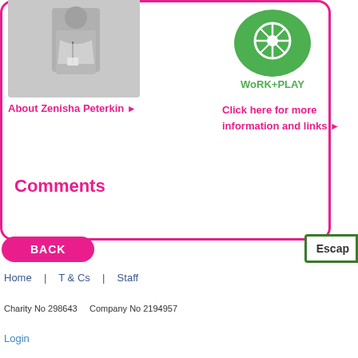[Figure (photo): Photo of Zenisha Peterkin, a person wearing a white top and lanyard]
About Zenisha Peterkin ▶
[Figure (logo): Work+Play logo: green speech bubble with wheel icon and text WORK+PLAY]
Click here for more information and links ▶
Comments
BACK
Escap…
Home  |  T & Cs  |  Staff
Charity No 298643    Company No 2194957
Login